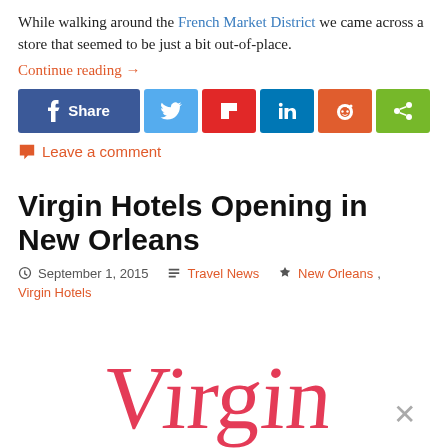While walking around the French Market District we came across a store that seemed to be just a bit out-of-place.
Continue reading →
[Figure (other): Social share bar with buttons: Facebook Share, Twitter, Flipboard, LinkedIn, Reddit, ShareThis]
Leave a comment
Virgin Hotels Opening in New Orleans
September 1, 2015   Travel News   New Orleans, Virgin Hotels
[Figure (logo): Virgin Hotels logo in red cursive script, partially visible at bottom of page, with a close (X) button in the lower right]